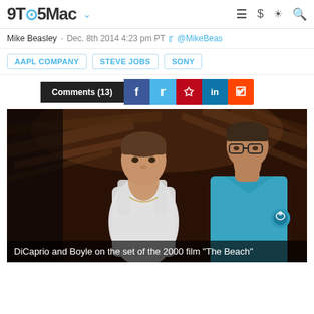9TO5Mac
Mike Beasley - Dec. 8th 2014 4:23 pm PT @MikeBeas
AAPL COMPANY   STEVE JOBS   SONY
Comments (13)
[Figure (photo): DiCaprio and Boyle on the set of the 2000 film 'The Beach' - two men standing among palm foliage, one in a white tank top, one in a blue shirt]
DiCaprio and Boyle on the set of the 2000 film "The Beach"